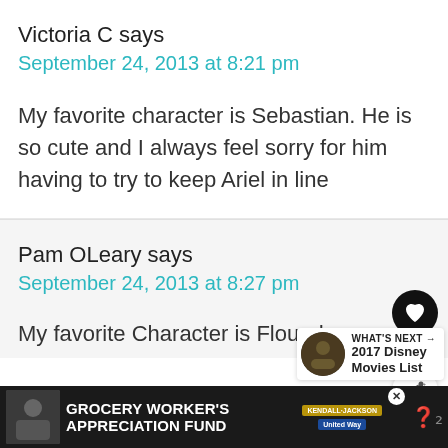Victoria C says
September 24, 2013 at 8:21 pm
My favorite character is Sebastian. He is so cute and I always feel sorry for him having to try to keep Ariel in line
Pam OLeary says
September 24, 2013 at 8:27 pm
My favorite Character is Flounder
[Figure (screenshot): Like button (heart icon in black circle), share button, count of 1]
[Figure (infographic): WHAT'S NEXT arrow widget showing 2017 Disney Movies List with circular image]
[Figure (infographic): Advertisement bar: Grocery Worker's Appreciation Fund with Kendall Jackson and United Way logos]